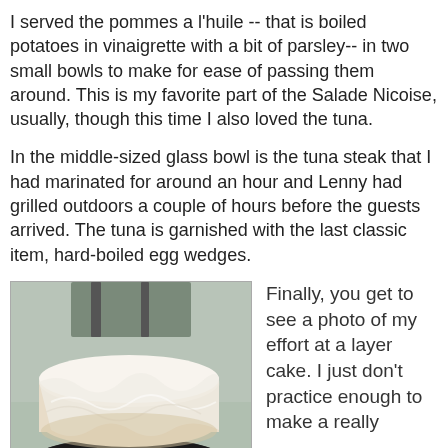I served the pommes a l'huile -- that is boiled potatoes in vinaigrette with a bit of parsley-- in two small bowls to make for ease of passing them around. This is my favorite part of the Salade Nicoise, usually, though this time I also loved the tuna.
In the middle-sized glass bowl is the tuna steak that I had marinated for around an hour and Lenny had grilled outdoors a couple of hours before the guests arrived. The tuna is garnished with the last classic item, hard-boiled egg wedges.
[Figure (photo): A layer cake covered in white frosting, sitting on a dark plate, with some background items visible.]
Finally, you get to see a photo of my effort at a layer cake. I just don't practice enough to make a really